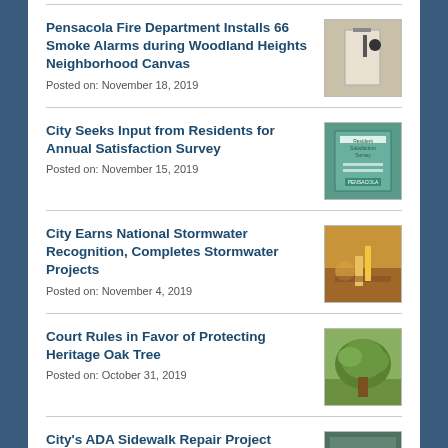Pensacola Fire Department Installs 66 Smoke Alarms during Woodland Heights Neighborhood Canvas
Posted on: November 18, 2019
[Figure (photo): Person installing smoke alarm on ceiling]
City Seeks Input from Residents for Annual Satisfaction Survey
Posted on: November 15, 2019
[Figure (photo): Resident Satisfaction Survey booklet cover]
City Earns National Stormwater Recognition, Completes Stormwater Projects
Posted on: November 4, 2019
[Figure (photo): Workers in yellow vests at stormwater project site]
Court Rules in Favor of Protecting Heritage Oak Tree
Posted on: October 31, 2019
[Figure (photo): Large heritage oak tree]
City's ADA Sidewalk Repair Project